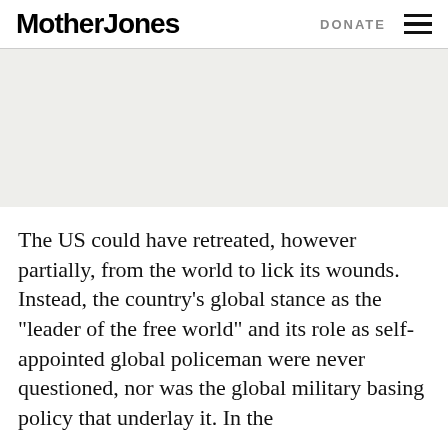Mother Jones | DONATE
[Figure (photo): Gray placeholder image area representing an article image]
The US could have retreated, however partially, from the world to lick its wounds. Instead, the country’s global stance as the “leader of the free world” and its role as self-appointed global policeman were never questioned, nor was the global military basing policy that underlay it. In the